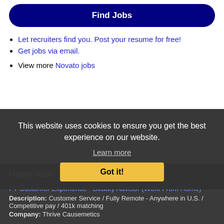Find Jobs
Let recruiters find you. Post your resume for free!
Get jobs via email.
View more Novato jobs
Other Jobs
FT Customer Experience - Beauty Advisor (Work From Home)
Description: Customer Service / Fully Remote - Anywhere in U.S. / Competitive pay / 401k matching
Company: Thrive Causemetics
This website uses cookies to ensure you get the best experience on our website.
Learn more
Got it!